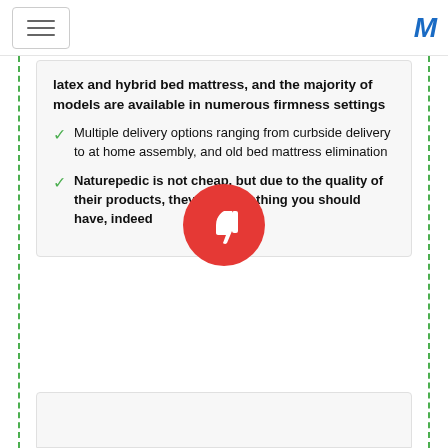latex and hybrid bed mattress, and the majority of models are available in numerous firmness settings
Multiple delivery options ranging from curbside delivery to at home assembly, and old bed mattress elimination
Naturepedic is not cheap, but due to the quality of their products, they are something you should have, indeed
[Figure (illustration): Red circle with white thumbs-down icon]